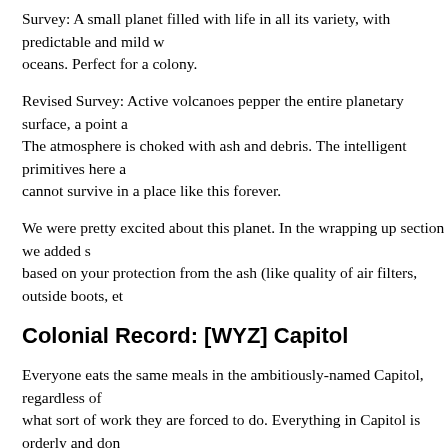Survey: A small planet filled with life in all its variety, with predictable and mild w... oceans. Perfect for a colony.
Revised Survey: Active volcanoes pepper the entire planetary surface, a point a... The atmosphere is choked with ash and debris. The intelligent primitives here a... cannot survive in a place like this forever.
We were pretty excited about this planet. In the wrapping up section we added s... based on your protection from the ash (like quality of air filters, outside boots, et...
Colonial Record: [WYZ] Capitol
Everyone eats the same meals in the ambitiously-named Capitol, regardless of what sort of work they are forced to do. Everything in Capitol is orderly and don... procedures, even the summary executions. For those who comply with regulatio... For those who resist – and their numbers are growing – it is going to be extreme...
The colony sounded fun as well, we decided that there were seven different me... that is ALL anyone got to eat (for any meal). They were of course all protein syn... taste like: Mango Monday, Vanilla Tuesday, Cup-A-Noodle Wednesday, Pizza T... Saturday and Seafood Sunday. Presumably on Sunday, they were actually fed m... very hazy.
Colonial Notables
Creating the notables was less straight forward than the planet and colony. Di...